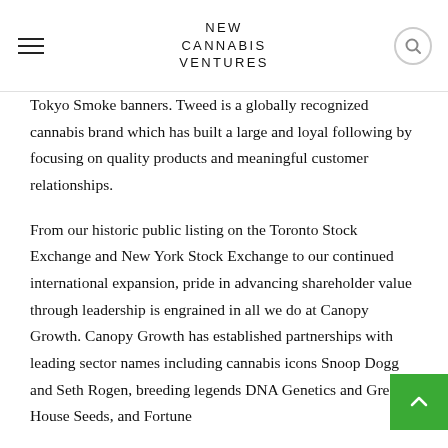NEW CANNABIS VENTURES
Tokyo Smoke banners. Tweed is a globally recognized cannabis brand which has built a large and loyal following by focusing on quality products and meaningful customer relationships.
From our historic public listing on the Toronto Stock Exchange and New York Stock Exchange to our continued international expansion, pride in advancing shareholder value through leadership is engrained in all we do at Canopy Growth. Canopy Growth has established partnerships with leading sector names including cannabis icons Snoop Dogg and Seth Rogen, breeding legends DNA Genetics and Green House Seeds, and Fortune